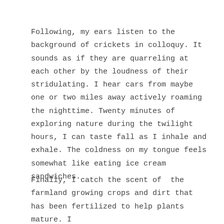Following, my ears listen to the background of crickets in colloquy. It sounds as if they are quarreling at each other by the loudness of their stridulating. I hear cars from maybe one or two miles away actively roaming the nighttime. Twenty minutes of exploring nature during the twilight hours, I can taste fall as I inhale and exhale. The coldness on my tongue feels somewhat like eating ice cream sandwiches.
Finally, I catch the scent of  the farmland growing crops and dirt that has been fertilized to help plants mature. I